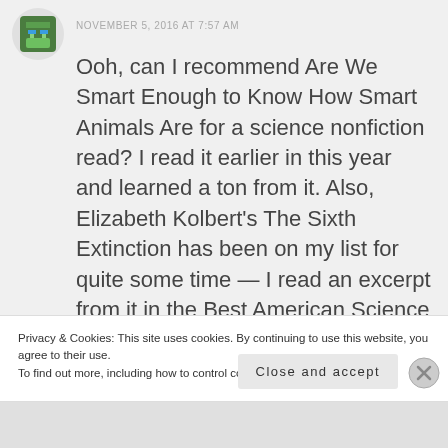[Figure (illustration): Pixel art avatar icon with green and blue colors on a circular background]
NOVEMBER 5, 2016 AT 7:57 AM
Ooh, can I recommend Are We Smart Enough to Know How Smart Animals Are for a science nonfiction read? I read it earlier in this year and learned a ton from it. Also, Elizabeth Kolbert's The Sixth Extinction has been on my list for quite some time — I read an excerpt from it in the Best American Science and Nature Writing (always a fun read) and
Privacy & Cookies: This site uses cookies. By continuing to use this website, you agree to their use.
To find out more, including how to control cookies, see here: Cookie Policy
Close and accept